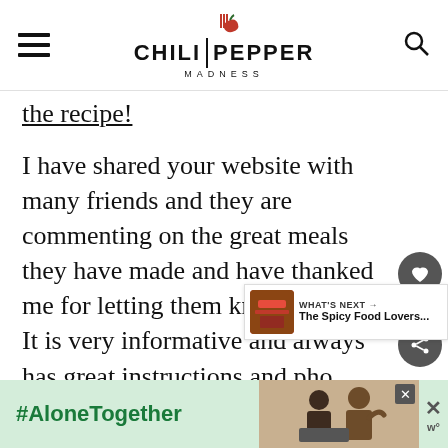CHILI PEPPER MADNESS
the recipe!
I have shared your website with many friends and they are commenting on the great meals they have made and have thanked me for letting them know about it. It is very informative and always has great instructions and pho… Excellent site! I am so glad I
[Figure (screenshot): #AloneTogether advertisement banner at the bottom of the page]